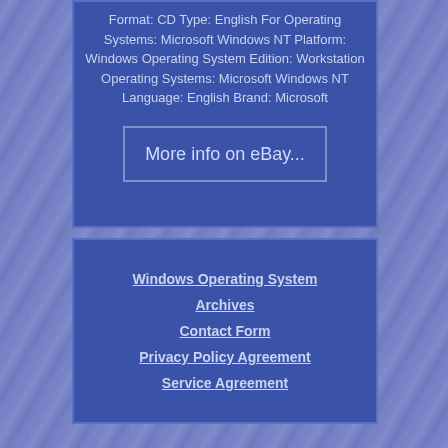Format: CD Type: English For Operating Systems: Microsoft Windows NT Platform: Windows Operating System Edition: Workstation Operating Systems: Microsoft Windows NT Language: English Brand: Microsoft
[Figure (other): Button/link labeled 'More info on eBay...']
Windows Operating System
Archives
Contact Form
Privacy Policy Agreement
Service Agreement